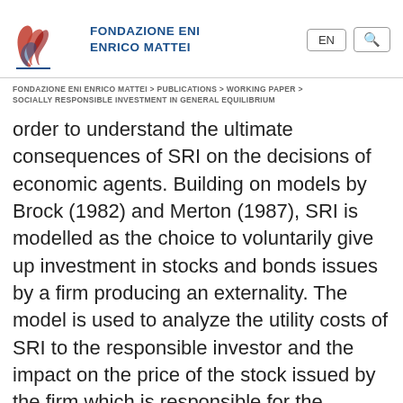[Figure (logo): Fondazione Eni Enrico Mattei logo with stylized red and blue letter forms, plus text 'FONDAZIONE ENI ENRICO MATTEI' in dark blue uppercase]
FONDAZIONE ENI ENRICO MATTEI > PUBLICATIONS > WORKING PAPER > SOCIALLY RESPONSIBLE INVESTMENT IN GENERAL EQUILIBRIUM
order to understand the ultimate consequences of SRI on the decisions of economic agents. Building on models by Brock (1982) and Merton (1987), SRI is modelled as the choice to voluntarily give up investment in stocks and bonds issues by a firm producing an externality. The model is used to analyze the utility costs of SRI to the responsible investor and the impact on the price of the stock issued by the firm which is responsible for the externality. The results shed light on the factors which may magnify or